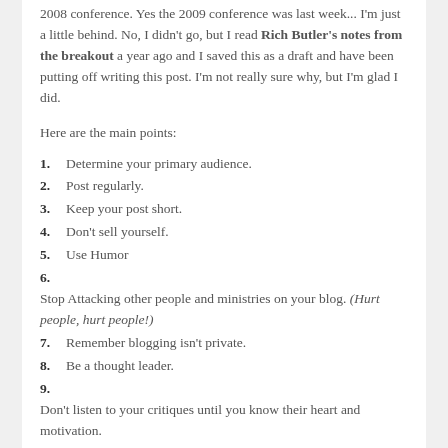2008 conference. Yes the 2009 conference was last week... I'm just a little behind. No, I didn't go, but I read Rich Butler's notes from the breakout a year ago and I saved this as a draft and have been putting off writing this post. I'm not really sure why, but I'm glad I did.
Here are the main points:
1. Determine your primary audience.
2. Post regularly.
3. Keep your post short.
4. Don't sell yourself.
5. Use Humor
6. Stop Attacking other people and ministries on your blog. (Hurt people, hurt people!)
7. Remember blogging isn't private.
8. Be a thought leader.
9. Don't listen to your critiques until you know their heart and motivation.
10. Reveal the real you.